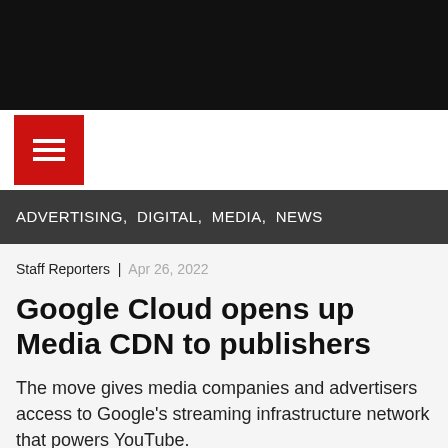[Figure (logo): Hamburger menu button (red square with three white horizontal lines)]
ADVERTISING,  DIGITAL,  MEDIA,  NEWS
Staff Reporters  |  Apr 26, 2022
Google Cloud opens up Media CDN to publishers
The move gives media companies and advertisers access to Google's streaming infrastructure network that powers YouTube.
[Figure (other): Social sharing icon buttons (partially visible circles at bottom)]